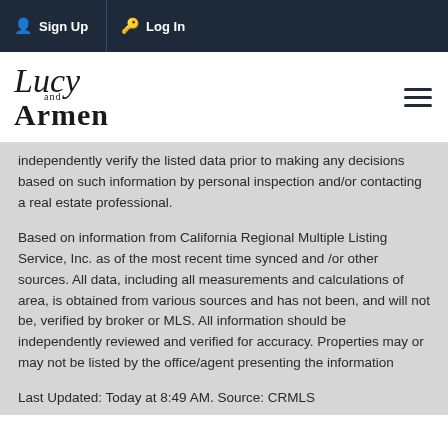Sign Up   Log In
[Figure (logo): Lucy and Armen real estate logo in serif/script font with hamburger menu icon]
independently verify the listed data prior to making any decisions based on such information by personal inspection and/or contacting a real estate professional.
Based on information from California Regional Multiple Listing Service, Inc. as of the most recent time synced and /or other sources. All data, including all measurements and calculations of area, is obtained from various sources and has not been, and will not be, verified by broker or MLS. All information should be independently reviewed and verified for accuracy. Properties may or may not be listed by the office/agent presenting the information
Last Updated: Today at 8:49 AM. Source: CRMLS